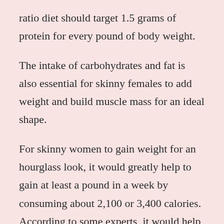ratio diet should target 1.5 grams of protein for every pound of body weight.
The intake of carbohydrates and fat is also essential for skinny females to add weight and build muscle mass for an ideal shape.
For skinny women to gain weight for an hourglass look, it would greatly help to gain at least a pound in a week by consuming about 2,100 or 3,400 calories. According to some experts, it would help to consume 5 meals daily instead of the standard 3 meals as an ultimate hourglass ratio diet.